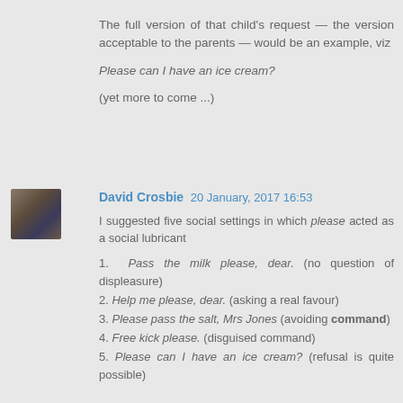The full version of that child's request — the version acceptable to the parents — would be an example, viz
Please can I have an ice cream?
(yet more to come ...)
David Crosbie  20 January, 2017 16:53
I suggested five social settings in which please acted as a social lubricant
1. Pass the milk please, dear. (no question of displeasure)
2. Help me please, dear. (asking a real favour)
3. Please pass the salt, Mrs Jones (avoiding command)
4. Free kick please. (disguised command)
5. Please can I have an ice cream? (refusal is quite possible)